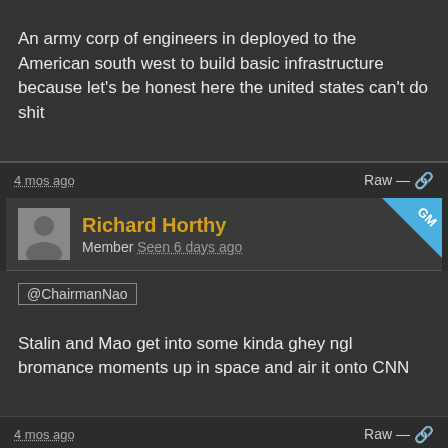An army corp of engineers in deployed to the American south west to build basic infrastructure because let's be honest here the united states can't do shit
4 mos ago
Raw —
Richard Horthy
Member Seen 6 days ago
@ChairmanNao
Stalin and Mao get into some kinda ghey ngl bromance moments up in space and air it onto CNN
4 mos ago
Raw —
ChairmanNao Chairman of the Roleplayer's